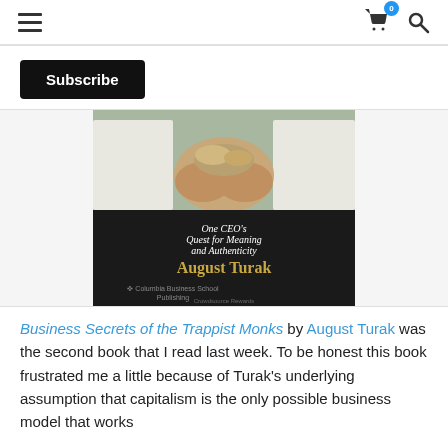Navigation bar with hamburger menu, cart icon (badge: 0), and search icon
Subscribe
[Figure (photo): Book cover of 'Business Secrets of the Trappist Monks: One CEO's Quest for Meaning and Authenticity' by August Turak, published by Columbia Business School Publishing]
Business Secrets of the Trappist Monks by August Turak was the second book that I read last week. To be honest this book frustrated me a little because of Turak's underlying assumption that capitalism is the only possible business model that works